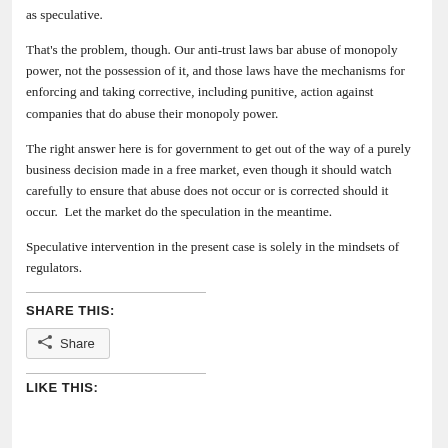as speculative.
That's the problem, though. Our anti-trust laws bar abuse of monopoly power, not the possession of it, and those laws have the mechanisms for enforcing and taking corrective, including punitive, action against companies that do abuse their monopoly power.
The right answer here is for government to get out of the way of a purely business decision made in a free market, even though it should watch carefully to ensure that abuse does not occur or is corrected should it occur.  Let the market do the speculation in the meantime.
Speculative intervention in the present case is solely in the mindsets of regulators.
SHARE THIS:
Share
LIKE THIS: